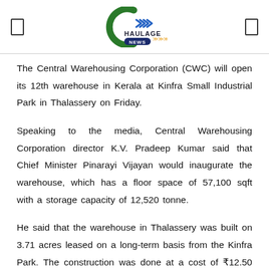Haulage News
The Central Warehousing Corporation (CWC) will open its 12th warehouse in Kerala at Kinfra Small Industrial Park in Thalassery on Friday.
Speaking to the media, Central Warehousing Corporation director K.V. Pradeep Kumar said that Chief Minister Pinarayi Vijayan would inaugurate the warehouse, which has a floor space of 57,100 sqft with a storage capacity of 12,520 tonne.
He said that the warehouse in Thalassery was built on 3.71 acres leased on a long-term basis from the Kinfra Park. The construction was done at a cost of ₹12.50 crore. The warehouse has the infrastructure...